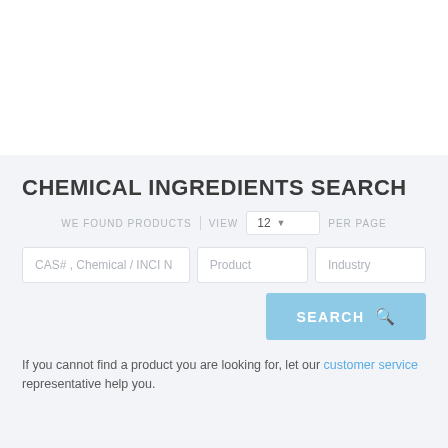CHEMICAL INGREDIENTS SEARCH
WE FOUND PRODUCTS  VIEW  12  PER PAGE
CAS# , Chemical / INCI N | Product | Industry
SEARCH
If you cannot find a product you are looking for, let our customer service representative help you.